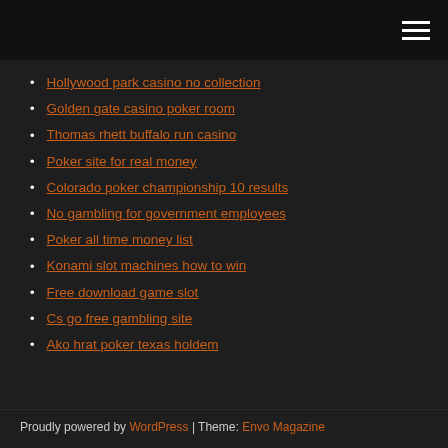[Navigation bar with hamburger menu icon]
Hollywood park casino no collection
Golden gate casino poker room
Thomas rhett buffalo run casino
Poker site for real money
Colorado poker championship 10 results
No gambling for government employees
Poker all time money list
Konami slot machines how to win
Free download game slot
Cs go free gambling site
Ako hrat poker texas holdem
Proudly powered by WordPress | Theme: Envo Magazine